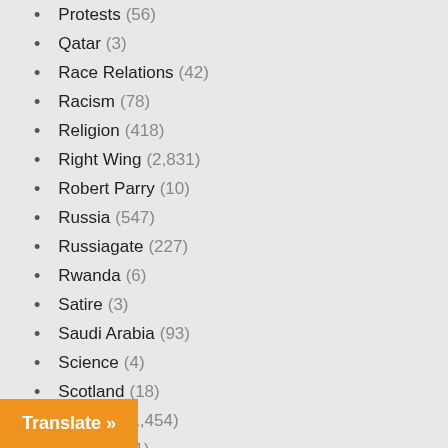Protests (56)
Qatar (3)
Race Relations (42)
Racism (78)
Religion (418)
Right Wing (2,831)
Robert Parry (10)
Russia (547)
Russiagate (227)
Rwanda (6)
Satire (3)
Saudi Arabia (93)
Science (4)
Scotland (18)
Secrecy (1,454)
Slovenia (1)
Social Media (23)
Somalia (8)
(20)
(11)
Translate »